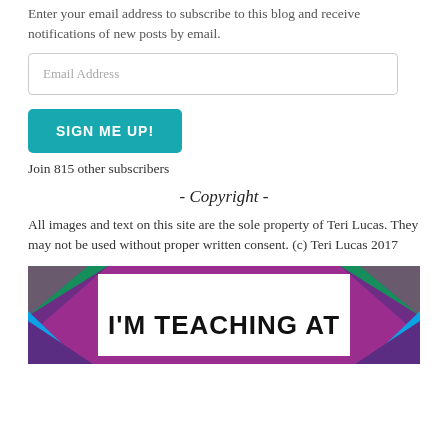Enter your email address to subscribe to this blog and receive notifications of new posts by email.
Email Address
SIGN ME UP!
Join 815 other subscribers
- Copyright -
All images and text on this site are the sole property of Teri Lucas. They may not be used without proper written consent. (c) Teri Lucas 2017
[Figure (illustration): Colorful banner with purple, green, blue, and yellow geometric triangles around the border, with bold black text reading I'M TEACHING AT in the center white area]